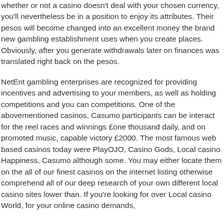whether or not a casino doesn't deal with your chosen currency, you'll nevertheless be in a position to enjoy its attributes. Their pesos will become changed into an excellent money the brand new gambling establishment uses when you create places. Obviously, after you generate withdrawals later on finances was translated right back on the pesos.
NetEnt gambling enterprises are recognized for providing incentives and advertising to your members, as well as holding competitions and you can competitions. One of the abovementioned casinos, Casumo participants can be interact for the reel races and winnings £one thousand daily, and on promoted music, capable victory £2000. The most famous web based casinos today were PlayOJO, Casino Gods, Local casino Happiness, Casumo although some. You may either locate them on the all of our finest casinos on the internet listing otherwise comprehend all of our deep research of your own different local casino sites lower than. If you're looking for over Local casino World, for your online casino demands,